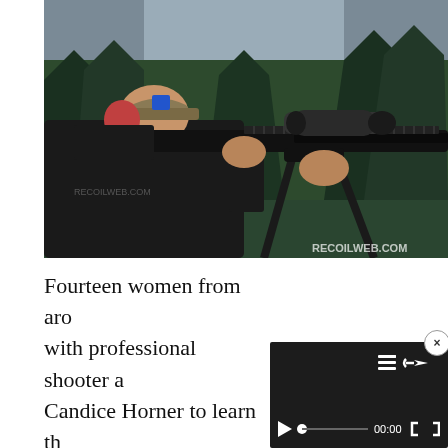[Figure (photo): A woman wearing ear protection, a cap with a logo, and a black long-sleeve shirt aims a large AR-style rifle mounted on a bipod tripod. She is at an outdoor shooting range surrounded by trees. A rifle scope is mounted on top. Watermark reads RECOILWEB.COM in the bottom right corner.]
Fourteen women from around the nation joined up with professional shooter and instructor Candice Horner to learn the skills of long-range shooting, and put th[eir skills to the] test. While one may be ab[le to...]